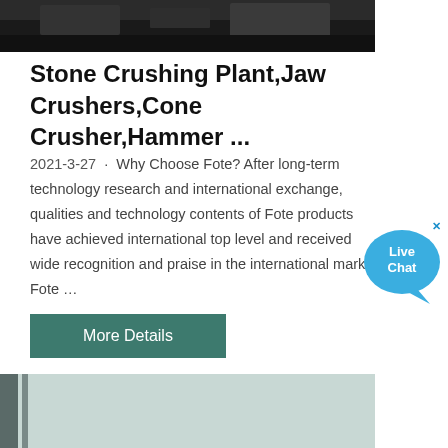[Figure (photo): Top portion of industrial crushing equipment photograph, dark machinery visible]
Stone Crushing Plant,Jaw Crushers,Cone Crusher,Hammer ...
2021-3-27 · Why Choose Fote? After long-term technology research and international exchange, qualities and technology contents of Fote products have achieved international top level and received wide recognition and praise in the international market; Fote …
[Figure (photo): Industrial hammer crusher / impact crusher machine in a factory setting, large black metal machine with red flywheel on left side, yellow hammer bars visible on top]
[Figure (other): Live Chat bubble widget with close X button, teal/blue circular speech bubble]